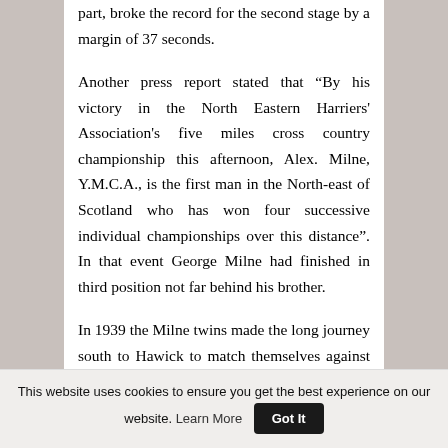part, broke the record for the second stage by a margin of 37 seconds.
Another press report stated that “By his victory in the North Eastern Harriers' Association's five miles cross country championship this afternoon, Alex. Milne, Y.M.C.A., is the first man in the North-east of Scotland who has won four successive individual championships over this distance”. In that event George Milne had finished in third position not far behind his brother.
In 1939 the Milne twins made the long journey south to Hawick to match themselves against the best cross country runners in the East of Scotland. In that
This website uses cookies to ensure you get the best experience on our website. Learn More  Got It